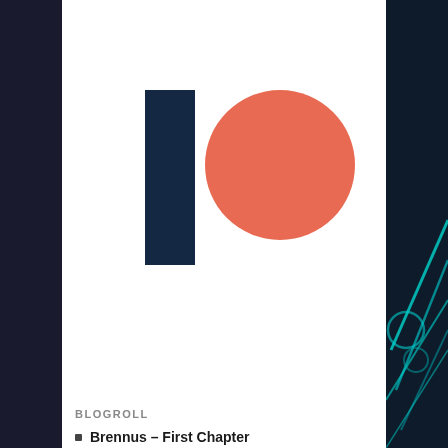[Figure (logo): Patreon logo: dark navy vertical rectangle bar on the left and a coral/salmon-red circle overlapping on the upper right]
[Figure (other): PayPal Donate button with yellow/gold rounded rectangle background and bold black Donate text]
BLOGROLL
Brennus – First Chapter